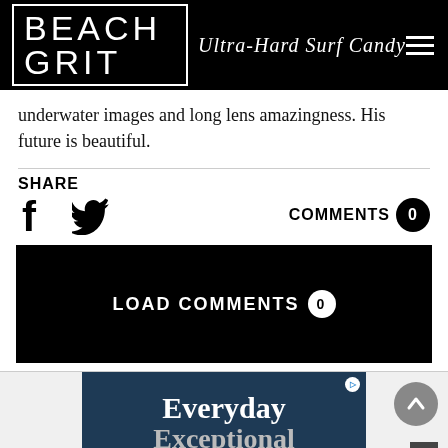BEACH GRIT Ultra-Hard Surf Candy
underwater images and long lens amazingness. His future is beautiful.
SHARE
[Figure (infographic): Share icons: Facebook and Twitter, with COMMENTS 0 badge on the right]
[Figure (infographic): Black button: LOAD COMMENTS 0]
[Figure (infographic): Advertisement banner showing 'Everyday Exceptional' text on dark blue background with scroll-to-top and close buttons]